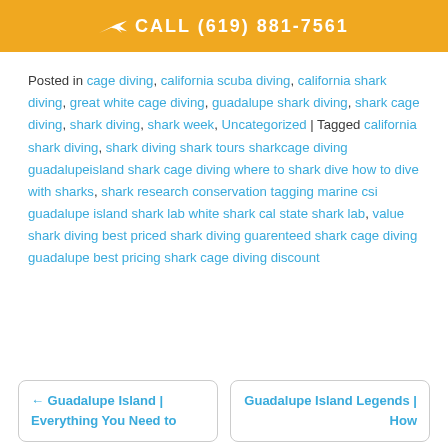CALL (619) 881-7561
Posted in cage diving, california scuba diving, california shark diving, great white cage diving, guadalupe shark diving, shark cage diving, shark diving, shark week, Uncategorized | Tagged california shark diving, shark diving shark tours sharkcage diving guadalupeisland shark cage diving where to shark dive how to dive with sharks, shark research conservation tagging marine csi guadalupe island shark lab white shark cal state shark lab, value shark diving best priced shark diving guarenteed shark cage diving guadalupe best pricing shark cage diving discount
← Guadalupe Island | Everything You Need to
Guadalupe Island Legends | How